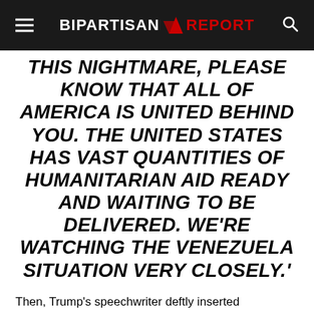BIPARTISAN REPORT
THIS NIGHTMARE, PLEASE KNOW THAT ALL OF AMERICA IS UNITED BEHIND YOU. THE UNITED STATES HAS VAST QUANTITIES OF HUMANITARIAN AID READY AND WAITING TO BE DELIVERED. WE'RE WATCHING THE VENEZUELA SITUATION VERY CLOSELY.'
Then, Trump's speechwriter deftly inserted democratic socialism into  the president's speech and compared it to Venezuela's government, which was manned by a dictator who refused to leave office:
'WE AWAIT THE DAY WHEN